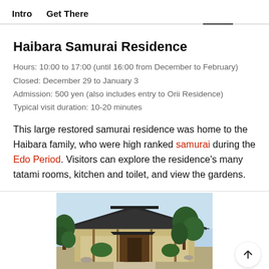Intro    Get There
Haibara Samurai Residence
Hours: 10:00 to 17:00 (until 16:00 from December to February)
Closed: December 29 to January 3
Admission: 500 yen (also includes entry to Orii Residence)
Typical visit duration: 10-20 minutes
This large restored samurai residence was home to the Haibara family, who were high ranked samurai during the Edo Period. Visitors can explore the residence's many tatami rooms, kitchen and toilet, and view the gardens.
[Figure (photo): Exterior photo of the Haibara Samurai Residence, showing a traditional Japanese building with a dark tiled roof, wooden entrance gate, and pine trees in the garden.]